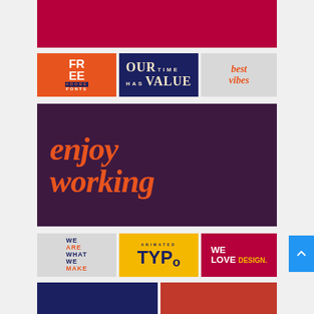[Figure (illustration): Dark crimson/red wide banner rectangle at top]
[Figure (illustration): Orange tile with white bold text: FR EE / ADOBE / FONTS]
[Figure (illustration): Navy dark blue tile with cream text: OUR TIME / HAS VALUE]
[Figure (illustration): Light gray tile with coral/orange italic serif text: best vibes]
[Figure (illustration): Dark purple/plum large banner with coral italic serif text: enjoy working]
[Figure (illustration): Light gray tile with stacked bold text: WE ARE WHAT WE MAKE]
[Figure (illustration): Yellow tile with text: ANIMATED TYPO]
[Figure (illustration): Crimson tile with text: WE LOVE DESIGN.]
[Figure (illustration): Navy blue partially visible tile at bottom left]
[Figure (illustration): Red partially visible tile at bottom right]